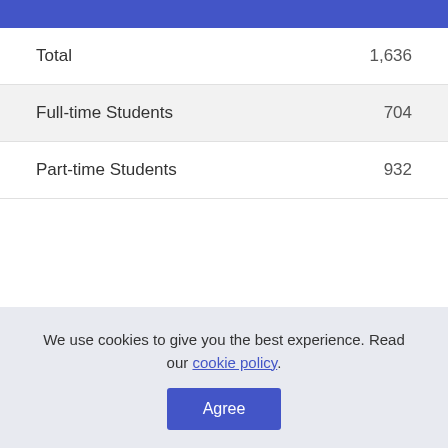|  |  |
| --- | --- |
| Total | 1,636 |
| Full-time Students | 704 |
| Part-time Students | 932 |
We use cookies to give you the best experience. Read our cookie policy.